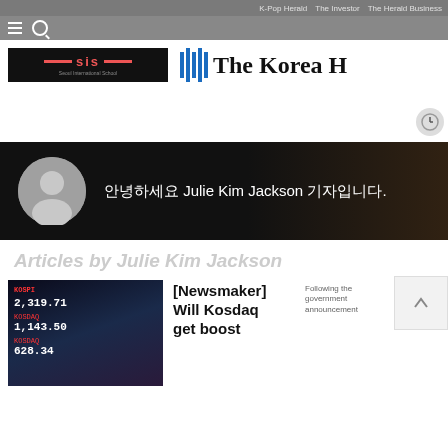K-Pop Herald   The Investor   The Herald Business
[Figure (logo): Seoul International School advertisement banner]
[Figure (logo): The Korea Herald logo with blue bar icon and blackletter text]
[Figure (photo): Reporter profile banner with avatar placeholder and Korean text: 안녕하세요 Julie Kim Jackson 기자입니다.]
Articles by Julie Kim Jackson
[Figure (photo): Stock market display showing KOSPI 2,319.71, KOSDAQ index 1,143.50, and KOSDAQ 628.34 on LED screens]
[Newsmaker] Will Kosdaq get boost
Following the government announcement